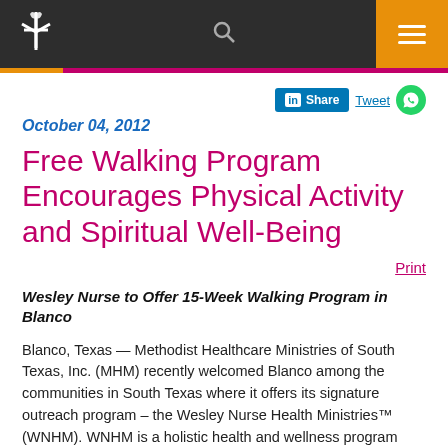United Methodist Church navigation header with logo, search, and menu
October 04, 2012
Free Walking Program Encourages Physical Activity and Spiritual Well-Being
Print
Wesley Nurse to Offer 15-Week Walking Program in Blanco
Blanco, Texas — Methodist Healthcare Ministries of South Texas, Inc. (MHM) recently welcomed Blanco among the communities in South Texas where it offers its signature outreach program – the Wesley Nurse Health Ministries™ (WNHM). WNHM is a holistic health and wellness program committed to serving the least served through education